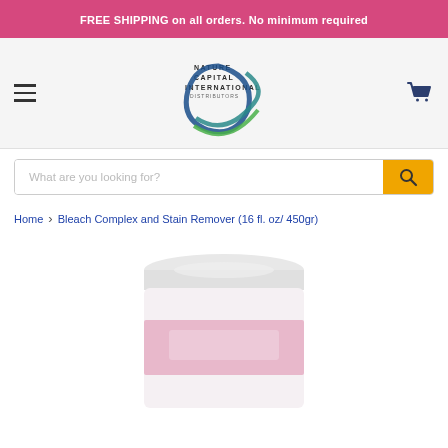FREE SHIPPING on all orders. No minimum required
[Figure (logo): Nature Capital International Distributors logo with swoosh globe graphic]
What are you looking for?
Home > Bleach Complex and Stain Remover (16 fl. oz/ 450gr)
[Figure (photo): Product container - Bleach Complex and Stain Remover 16 fl. oz / 450gr, white cylindrical container with pink label, partially cropped at bottom of page]